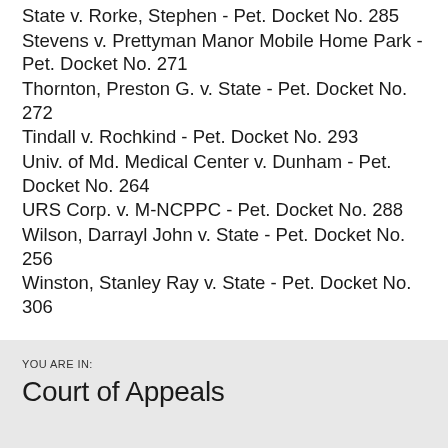State v. Rorke, Stephen - Pet. Docket No. 285
Stevens v. Prettyman Manor Mobile Home Park - Pet. Docket No. 271
Thornton, Preston G. v. State - Pet. Docket No. 272
Tindall v. Rochkind - Pet. Docket No. 293
Univ. of Md. Medical Center v. Dunham - Pet. Docket No. 264
URS Corp. v. M-NCPPC - Pet. Docket No. 288
Wilson, Darrayl John v. State - Pet. Docket No. 256
Winston, Stanley Ray v. State - Pet. Docket No. 306
YOU ARE IN: Court of Appeals